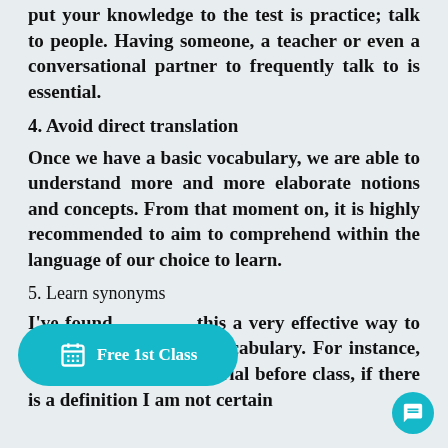put your knowledge to the test is practice; talk to people. Having someone, a teacher or even a conversational partner to frequently talk to is essential.
4. Avoid direct translation
Once we have a basic vocabulary, we are able to understand more and more elaborate notions and concepts. From that moment on, it is highly recommended to aim to comprehend within the language of our choice to learn.
5. Learn synonyms
I've found this a very effective way to active vocabulary. For instance, when I review the material before class, if there is a definition I am not certain